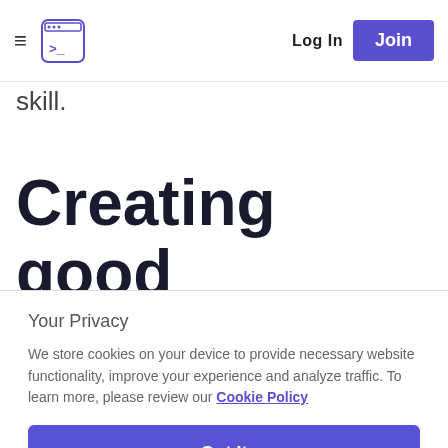≡  [logo]  Log In  Join
skill.
Creating good examples
Your Privacy
We store cookies on your device to provide necessary website functionality, improve your experience and analyze traffic. To learn more, please review our Cookie Policy
Got It